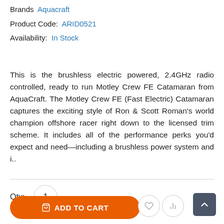Brands: Aquacraft
Product Code: ARID0521
Availability: In Stock
This is the brushless electric powered, 2.4GHz radio controlled, ready to run Motley Crew FE Catamaran from AquaCraft. The Motley Crew FE (Fast Electric) Catamaran captures the exciting style of Ron & Scott Roman's world champion offshore racer right down to the licensed trim scheme. It includes all of the performance perks you'd expect and need—including a brushless power system and i..